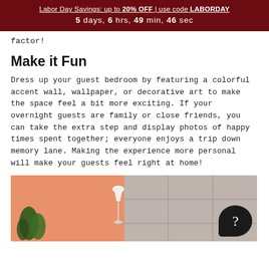Labor Day Savings: up to 20% OFF | use code LABORDAY
5 days, 6 hrs, 49 min, 46 sec
factor!
Make it Fun
Dress up your guest bedroom by featuring a colorful accent wall, wallpaper, or decorative art to make the space feel a bit more exciting. If your overnight guests are family or close friends, you can take the extra step and display photos of happy times spent together; everyone enjoys a trip down memory lane. Making the experience more personal will make your guests feel right at home!
[Figure (photo): A bedroom scene with a peach/salmon colored accent wall on the left and a grey tufted headboard on the right, with a white lamp and green plant visible.]